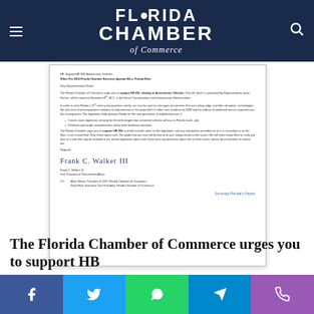Florida Chamber of Commerce
[Figure (screenshot): Screenshot of a formal letter from the Florida Chamber of Commerce urging support of HB 353 relating to Autonomous Vehicles, signed by Frank C. Walker, III, Vice President of Government Affairs. The letter is addressed to Representative Drake and includes bullet points about regulatory certainty and passenger safety. CC to Mark Wilson and David Hart.]
The Florida Chamber of Commerce urges you to support HB
Social sharing buttons: Facebook, Twitter, WhatsApp, Telegram, Phone